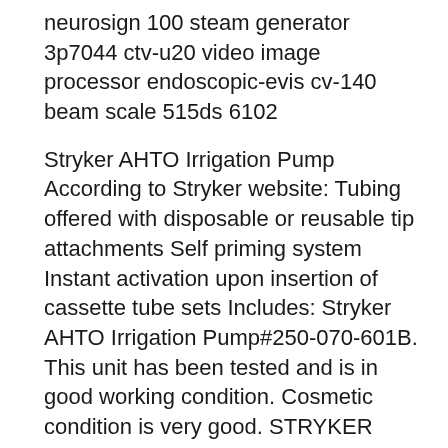neurosign 100 steam generator 3p7044 ctv-u20 video image processor endoscopic-evis cv-140 beam scale 515ds 6102
Stryker AHTO Irrigation Pump According to Stryker website: Tubing offered with disposable or reusable tip attachments Self priming system Instant activation upon insertion of cassette tube sets Includes: Stryker AHTO Irrigation Pump#250-070-601B. This unit has been tested and is in good working condition. Cosmetic condition is very good. STRYKER CORE POWERED Instrument Driver RF 5400-0500-000/007-000 NSE Foot Switch (GUI), the irrigation pump, Stryker Service Manual will be included with shipping Condition: Used, Model: Stryker Core Powered Instrument Driver Console